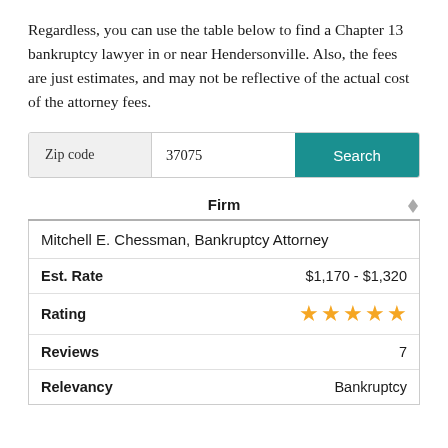Regardless, you can use the table below to find a Chapter 13 bankruptcy lawyer in or near Hendersonville. Also, the fees are just estimates, and may not be reflective of the actual cost of the attorney fees.
| Zip code | 37075 | Search |
| --- | --- | --- |
| Firm |  |
| --- | --- |
| Mitchell E. Chessman, Bankruptcy Attorney |  |
| Est. Rate | $1,170 - $1,320 |
| Rating | ★★★★★ |
| Reviews | 7 |
| Relevancy | Bankruptcy |